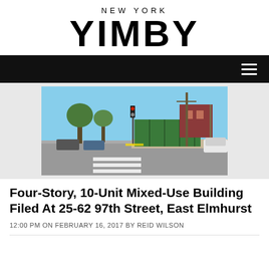NEW YORK YIMBY
[Figure (screenshot): Navigation bar with hamburger menu icon on dark background]
[Figure (photo): Street view photo of 25-62 97th Street, East Elmhurst, showing an intersection with a green construction fence, a red brick building in the background, utility poles, and a crosswalk in the foreground.]
Four-Story, 10-Unit Mixed-Use Building Filed At 25-62 97th Street, East Elmhurst
12:00 PM ON FEBRUARY 16, 2017 BY REID WILSON